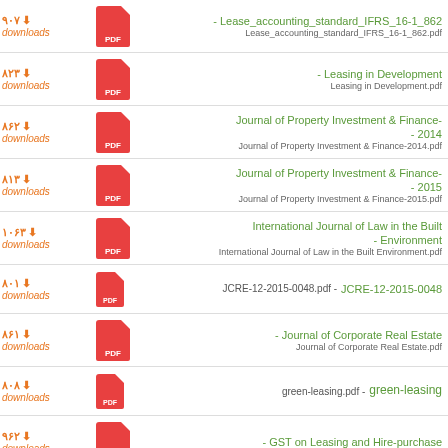۹۰۷ downloads - Lease_accounting_standard_IFRS_16-1_862 | Lease_accounting_standard_IFRS_16-1_862.pdf
۸۲۳ downloads - Leasing in Development | Leasing in Development.pdf
۸۶۲ downloads - Journal of Property Investment & Finance- - 2014 | Journal of Property Investment & Finance-2014.pdf
۸۱۳ downloads - Journal of Property Investment & Finance- - 2015 | Journal of Property Investment & Finance-2015.pdf
۱۰۶۳ downloads - International Journal of Law in the Built - Environment | International Journal of Law in the Built Environment.pdf
۸۰۱ downloads - JCRE-12-2015-0048.pdf - JCRE-12-2015-0048
۸۶۱ downloads - Journal of Corporate Real Estate | Journal of Corporate Real Estate.pdf
۸۰۸ downloads - green-leasing.pdf - green-leasing
۹۶۲ downloads - GST on Leasing and Hire-purchase